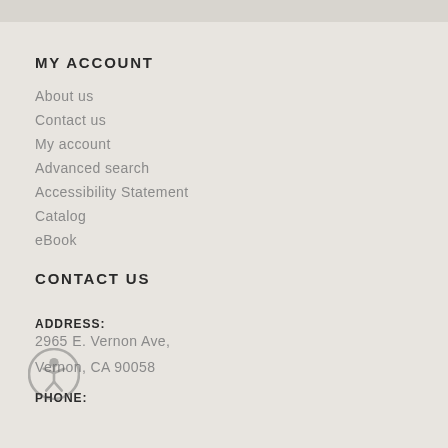MY ACCOUNT
About us
Contact us
My account
Advanced search
Accessibility Statement
Catalog
eBook
CONTACT US
ADDRESS:
2965 E. Vernon Ave,
Vernon, CA 90058
PHONE: